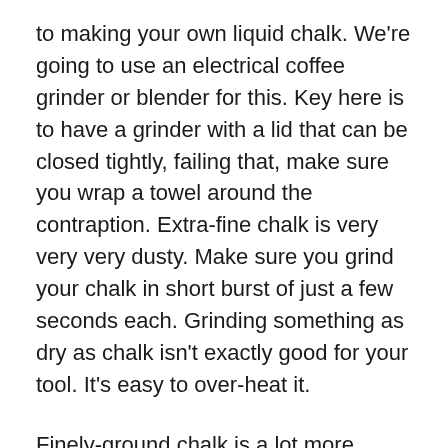to making your own liquid chalk. We're going to use an electrical coffee grinder or blender for this. Key here is to have a grinder with a lid that can be closed tightly, failing that, make sure you wrap a towel around the contraption. Extra-fine chalk is very very very dusty. Make sure you grind your chalk in short burst of just a few seconds each. Grinding something as dry as chalk isn't exactly good for your tool. It's easy to over-heat it.
Finely-ground chalk is a lot more dusty and has a very different texture to it. Some climbers like it, some don't. One thing that is sure is that finely-ground chalk makes a whole lot more dust & is a royal pain in the ass to clean up when accidentally spilled. That's why we encourage to use the methods outlined in this article sparingly. We encourage everyone to switch to liquid chalk